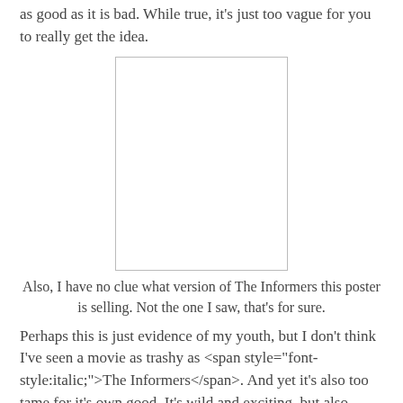as good as it is bad. While true, it's just too vague for you to really get the idea.
[Figure (photo): A blank white rectangular image placeholder with a thin border, representing a movie poster for The Informers.]
Also, I have no clue what version of The Informers this poster is selling. Not the one I saw, that's for sure.
Perhaps this is just evidence of my youth, but I don't think I've seen a movie as trashy as <span style="font-style:italic;">The Informers</span>. And yet it's also too tame for it's own good. It's wild and exciting, but also subdued and